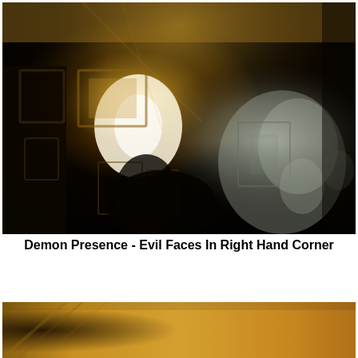[Figure (photo): A dark, blurry photograph of an indoor room scene. The image shows a dimly lit room with warm golden/yellow light emanating from a lamp or light source in the center-left area. There are framed pictures on walls visible on the left side, and a dark figure or shape in the center-lower area. The right side shows a lighter, misty or smoky area with what appears to be ghostly or indistinct shapes. The overall image is very dark with motion blur effects.]
Demon Presence - Evil Faces In Right Hand Corner
[Figure (photo): A partial view of a second photograph showing a golden/amber colored surface or texture, only the top portion is visible at the bottom of the page.]